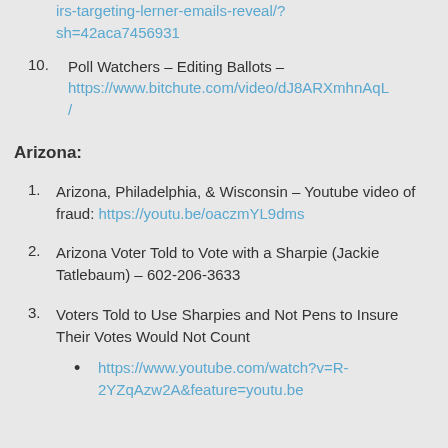irs-targeting-lerner-emails-reveal/?sh=42aca7456931
Poll Watchers – Editing Ballots – https://www.bitchute.com/video/dJ8ARXmhnAqL/
Arizona:
Arizona, Philadelphia, & Wisconsin – Youtube video of fraud: https://youtu.be/oaczmYL9dms
Arizona Voter Told to Vote with a Sharpie (Jackie Tatlebaum) – 602-206-3633
Voters Told to Use Sharpies and Not Pens to Insure Their Votes Would Not Count
https://www.youtube.com/watch?v=R-2YZqAzw2A&feature=youtu.be